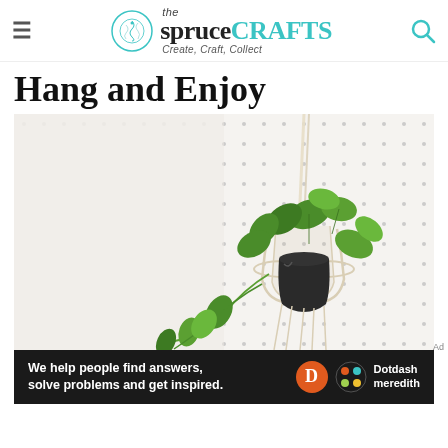the spruce CRAFTS — Create, Craft, Collect
Hang and Enjoy
[Figure (photo): A macrame hanging planter holding a dark pot with a green trailing pothos plant, hanging against a white pegboard background with evenly spaced black dots.]
We help people find answers, solve problems and get inspired. Dotdash meredith